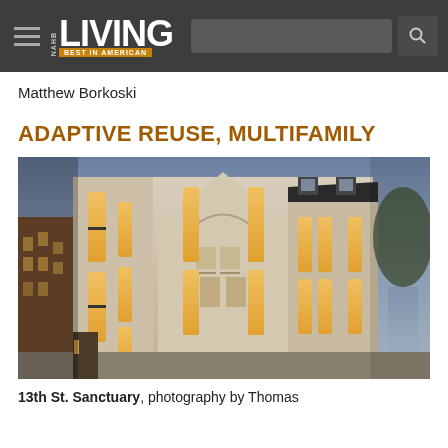NAHB LIVING BEST IN AMERICAN
Matthew Borkoski
ADAPTIVE REUSE, MULTIFAMILY
[Figure (photo): Exterior photograph of 13th St. Sanctuary building at dusk, showing a converted church with Gothic architectural details, cream/white stone facade, tall narrow windows with warm golden interior lighting, a central pointed tower, and a mansard-roofed wing to the right. Urban street context visible on the left.]
13th St. Sanctuary, photography by Thomas